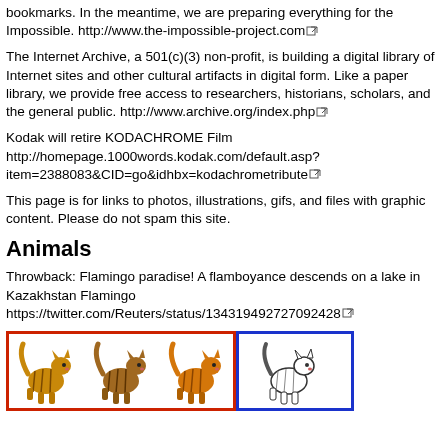bookmarks. In the meantime, we are preparing everything for the Impossible. http://www.the-impossible-project.com
The Internet Archive, a 501(c)(3) non-profit, is building a digital library of Internet sites and other cultural artifacts in digital form. Like a paper library, we provide free access to researchers, historians, scholars, and the general public. http://www.archive.org/index.php
Kodak will retire KODACHROME Film http://homepage.1000words.kodak.com/default.asp?item=2388083&CID=go&idhbx=kodachrometribute
This page is for links to photos, illustrations, gifs, and files with graphic content. Please do not spam this site.
Animals
Throwback: Flamingo paradise! A flamboyance descends on a lake in Kazakhstan Flamingo https://twitter.com/Reuters/status/134319492727092428
[Figure (illustration): Three cartoon tabby cats in orange/brown tones walking, inside a red border box, and one white/outline cat inside a blue border box.]